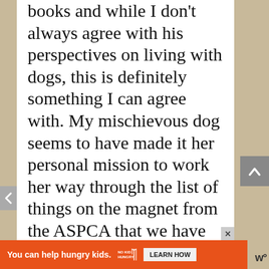books and while I don't always agree with his perspectives on living with dogs, this is definitely something I can agree with. My mischievous dog seems to have made it her personal mission to work her way through the list of things on the magnet from the ASPCA that we have listing all of the toxic foods for dogs–but most of them, like onions or garlic, are things that have to be consumed in high quantities. When she flew through the air
[Figure (screenshot): Orange advertisement bar at the bottom: 'You can help hungry kids.' with No Kid Hungry logo and 'LEARN HOW' button. Close X button above it. Wordmark 'w°' to the right.]